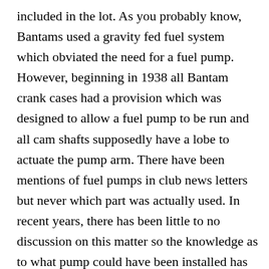included in the lot. As you probably know, Bantams used a gravity fed fuel system which obviated the need for a fuel pump. However, beginning in 1938 all Bantam crank cases had a provision which was designed to allow a fuel pump to be run and all cam shafts supposedly have a lobe to actuate the pump arm. There have been mentions of fuel pumps in club news letters but never which part was actually used. In recent years, there has been little to no discussion on this matter so the knowledge as to what pump could have been installed has essentially vanished.
Does this information really matter? Probably not.